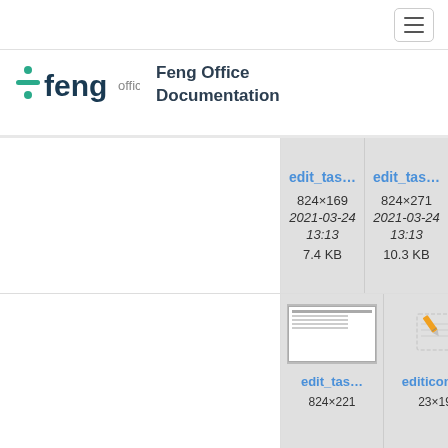[Figure (logo): Feng Office logo with teal division-like icon and 'feng office' text]
Feng Office Documentation
edit_tas...
824×169
2021-03-24 13:13
7.4 KB
edit_tas...
824×271
2021-03-24 13:13
10.3 KB
edit_tas...
824×221
editicon....
23×19